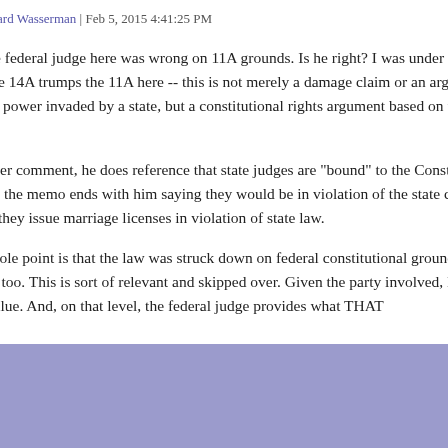Posted by: Howard Wasserman | Feb 5, 2015 4:41:25 PM
1. He says the federal judge here was wrong on 11A grounds. Is he right? I was under the impression the 14A trumps the 11A here -- this is not merely a damage claim or an argument of congressional power invaded by a state, but a constitutional rights argument based on the 14A. Did he cover this?
2. Per an earlier comment, he does reference that state judges are "bound" to the Constitution of the U.S. But, yes, the memo ends with him saying they would be in violation of the state constitution ... full stop ... if they issue marriage licenses in violation of state law.
Yeah. The whole point is that the law was struck down on federal constitutional grounds. They have to follow that too. This is sort of relevant and skipped over. Given the party involved, I can't take that at face value. And, on that level, the federal judge provides what THAT